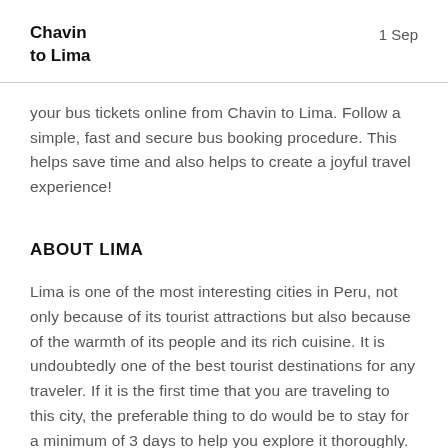Chavin to Lima | 1 Sep
your bus tickets online from Chavin to Lima. Follow a simple, fast and secure bus booking procedure. This helps save time and also helps to create a joyful travel experience!
ABOUT LIMA
Lima is one of the most interesting cities in Peru, not only because of its tourist attractions but also because of the warmth of its people and its rich cuisine. It is undoubtedly one of the best tourist destinations for any traveler. If it is the first time that you are traveling to this city, the preferable thing to do would be to stay for a minimum of 3 days to help you explore it thoroughly.